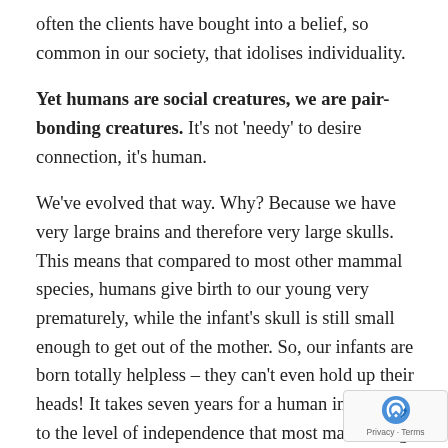often the clients have bought into a belief, so common in our society, that idolises individuality.
Yet humans are social creatures, we are pair-bonding creatures. It's not 'needy' to desire connection, it's human.
We've evolved that way. Why? Because we have very large brains and therefore very large skulls. This means that compared to most other mammal species, humans give birth to our young very prematurely, while the infant's skull is still small enough to get out of the mother. So, our infants are born totally helpless – they can't even hold up their heads! It takes seven years for a human infant to get to the level of independence that most mammals get to in a few weeks or months.
Other mammal species don't need fathers. Once done his job of impregnation the mother can ges birth and raise her infants all on her own. There is no